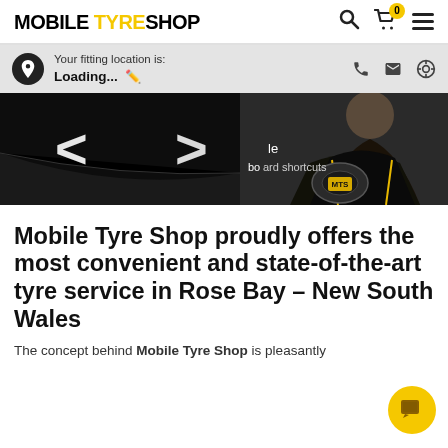MOBILE TYRE SHOP
Your fitting location is: Loading...
[Figure (photo): Man in black uniform sitting in car interior, with white angle bracket arrows overlaid on dark background. Text overlay reads 'le' and 'board shortcuts'.]
Mobile Tyre Shop proudly offers the most convenient and state-of-the-art tyre service in Rose Bay – New South Wales
The concept behind Mobile Tyre Shop is pleasantly